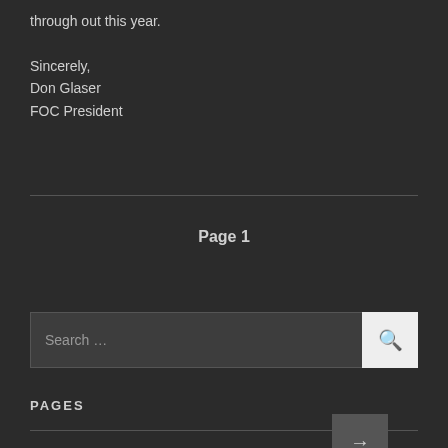through out this year.

Sincerely,
Don Glaser
FOC President
Page 1 →
Search …
PAGES